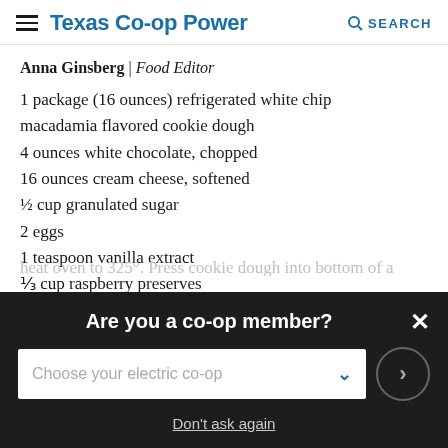Texas Co-op Power | SEARCH
Anna Ginsberg | Food Editor
1 package (16 ounces) refrigerated white chip macadamia flavored cookie dough
4 ounces white chocolate, chopped
16 ounces cream cheese, softened
½ cup granulated sugar
2 eggs
1 teaspoon vanilla extract
⅓ cup raspberry preserves
Are you a co-op member? Choose your electric co-op. Don't ask again.